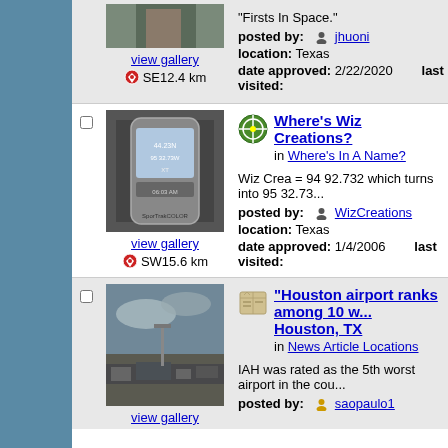[Figure (photo): Partial top image of a person outdoors]
view gallery
SE12.4 km
"Firsts In Space."
posted by: jhuoni
location: Texas
date approved: 2/22/2020   last visited:
[Figure (photo): Photo of a Magellan SporTrakCOLOR GPS device showing coordinates 44.23N 95 32.73W]
view gallery
SW15.6 km
Where's Wiz Creations?
in Where's In A Name?
Wiz Crea = 94 92.732 which turns into 95 32.73...
posted by: WizCreations
location: Texas
date approved: 1/4/2006   last visited:
[Figure (photo): Photo of an airport with aircraft and equipment on tarmac at dusk]
view gallery
"Houston airport ranks among 10 w... Houston, TX
in News Article Locations
IAH was rated as the 5th worst airport in the cou...
posted by: saopaulo1